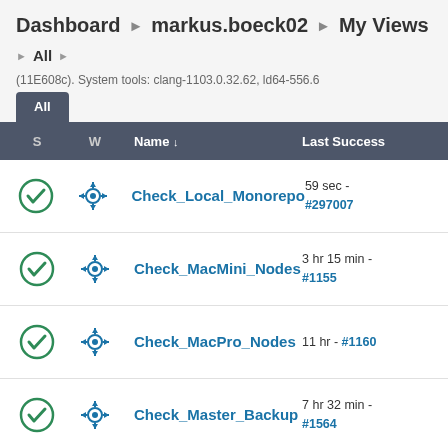Dashboard ▶ markus.boeck02 ▶ My Views
▶ All ▶
(11E608c). System tools: clang-1103.0.32.62, ld64-556.6
| S | W | Name ↓ | Last Succ... |
| --- | --- | --- | --- |
| ✓ | ⊙ | Check_Local_Monorepo | 59 sec - #297007 |
| ✓ | ⊙ | Check_MacMini_Nodes | 3 hr 15 min - #1155 |
| ✓ | ⊙ | Check_MacPro_Nodes | 11 hr - #1160 |
| ✓ | ⊙ | Check_Master_Backup | 7 hr 32 min - #1564 |
| — | ⊙ | Clang Single Stage Pipline - Release build with | 3 yr 9 mo - #3... |